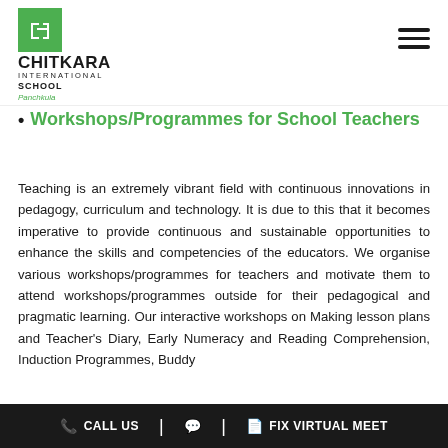[Figure (logo): Chitkara International School Panchkula logo with green icon]
Workshops/Programmes for School Teachers
Teaching is an extremely vibrant field with continuous innovations in pedagogy, curriculum and technology. It is due to this that it becomes imperative to provide continuous and sustainable opportunities to enhance the skills and competencies of the educators. We organise various workshops/programmes for teachers and motivate them to attend workshops/programmes outside for their pedagogical and pragmatic learning. Our interactive workshops on Making lesson plans and Teacher's Diary, Early Numeracy and Reading Comprehension, Induction Programmes, Buddy
CALL US | | FIX VIRTUAL MEET